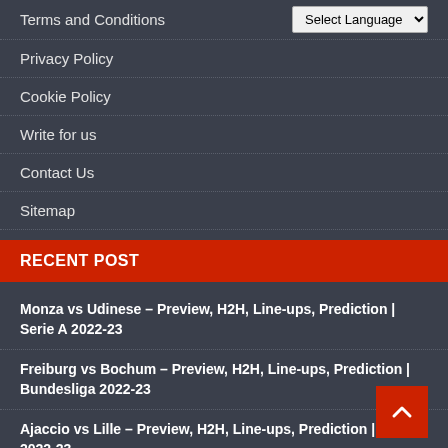Terms and Conditions
Privacy Policy
Cookie Policy
Write for us
Contact Us
Sitemap
RECENT POST
Monza vs Udinese – Preview, H2H, Line-ups, Prediction | Serie A 2022-23
Freiburg vs Bochum – Preview, H2H, Line-ups, Prediction | Bundesliga 2022-23
Ajaccio vs Lille – Preview, H2H, Line-ups, Prediction | Ligue 1 2022-23
Barcelona need to sell players to raise £17m before they can register Jules Kounde